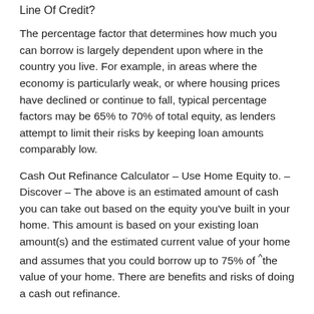Line Of Credit?
The percentage factor that determines how much you can borrow is largely dependent upon where in the country you live. For example, in areas where the economy is particularly weak, or where housing prices have declined or continue to fall, typical percentage factors may be 65% to 70% of total equity, as lenders attempt to limit their risks by keeping loan amounts comparably low.
Cash Out Refinance Calculator – Use Home Equity to. – Discover – The above is an estimated amount of cash you can take out based on the equity you've built in your home. This amount is based on your existing loan amount(s) and the estimated current value of your home and assumes that you could borrow up to 75% of ^the value of your home. There are benefits and risks of doing a cash out refinance.